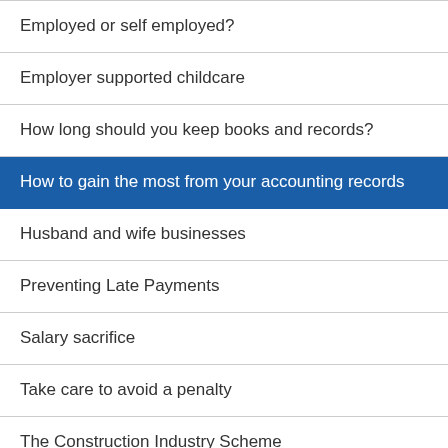Employed or self employed?
Employer supported childcare
How long should you keep books and records?
How to gain the most from your accounting records
Husband and wife businesses
Preventing Late Payments
Salary sacrifice
Take care to avoid a penalty
The Construction Industry Scheme
The National Living Wage and the National